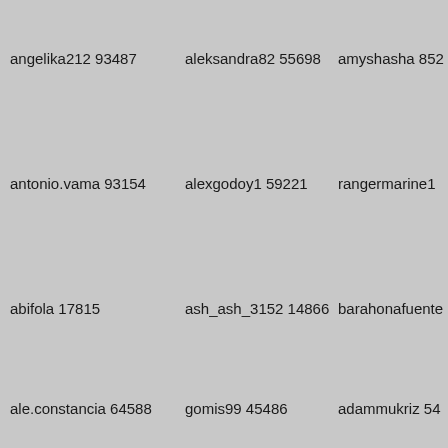angelika212 93487
aleksandra82 55698
amyshasha 852
antonio.vama 93154
alexgodoy1 59221
rangermarine1
abifola 17815
ash_ash_3152 14866
barahonafuente
ale.constancia 64588
gomis99 45486
adammukriz 54